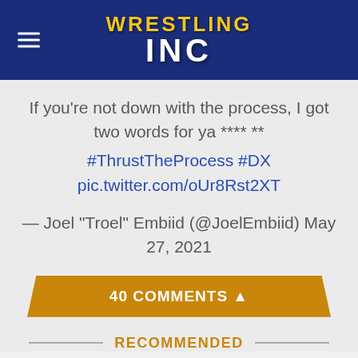Wrestling Inc
If you're not down with the process, I got two words for ya **** **
#ThrustTheProcess #DX pic.twitter.com/oUr8Rst2XT
— Joel "Troel" Embiid (@JoelEmbiid) May 27, 2021
40 COMMENTS ▲
RECOMMENDED